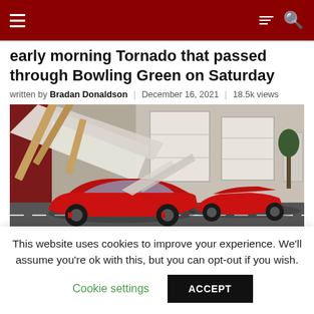Navigation bar with hamburger menu and search icon
early morning Tornado that passed through Bowling Green on Saturday
written by Bradan Donaldson | December 16, 2021 | 18.5k views
[Figure (photo): Red Corvette sports cars with tornado damage debris and collapsed roofing around them in a parking lot outside garage doors]
This website uses cookies to improve your experience. We'll assume you're ok with this, but you can opt-out if you wish. Cookie settings ACCEPT